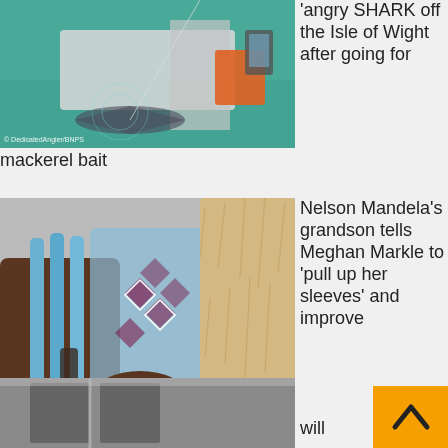[Figure (photo): Shark visible in green water next to a boat hull, with fishing line and orange life jackets visible]
'angry SHARK off the Isle of Wight after going for mackerel bait
[Figure (photo): Person wearing traditional blue beaded necklace and clothing, holding a calf or goat with fur coat]
Nelson Mandela's grandson tells Meghan Markle to 'pull up her sleeves' and improve lives
[Figure (photo): Partial view of a car or vehicle, bottom of page]
will